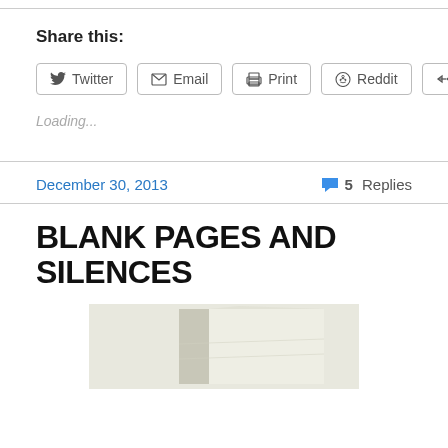Share this:
[Figure (screenshot): Social sharing buttons: Twitter, Email, Print, Reddit, More]
Loading...
December 30, 2013    5 Replies
BLANK PAGES AND SILENCES
[Figure (photo): Photo of an open notebook with blank pages]